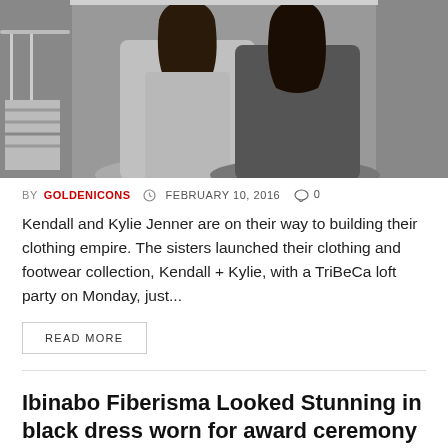[Figure (photo): Two young women (Kendall and Kylie Jenner) posing together, one in a grey dress and one in a black outfit, at a fashion event with a dark background.]
BY GOLDENICONS  © FEBRUARY 10, 2016  ○ 0
Kendall and Kylie Jenner are on their way to building their clothing empire. The sisters launched their clothing and footwear collection, Kendall + Kylie, with a TriBeCa loft party on Monday, just...
READ MORE
Ibinabo Fiberisma Looked Stunning in black dress worn for award ceremony
[Figure (photo): Partial view of a photo strip at the bottom of the page, likely showing Ibinabo Fiberisma in a black dress.]